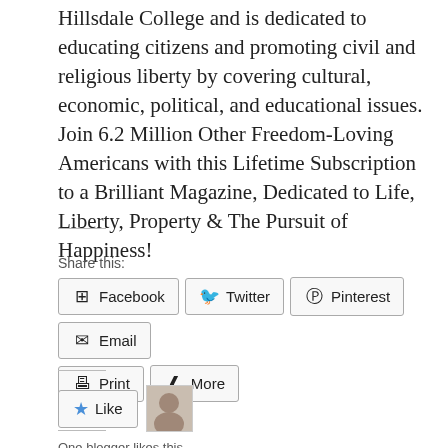Hillsdale College and is dedicated to educating citizens and promoting civil and religious liberty by covering cultural, economic, political, and educational issues. Join 6.2 Million Other Freedom-Loving Americans with this Lifetime Subscription to a Brilliant Magazine, Dedicated to Life, Liberty, Property & The Pursuit of Happiness!
Share this:
Facebook  Twitter  Pinterest  Email  Print  More
Like  One blogger likes this.
Featured Post by @norway4trump – Editor